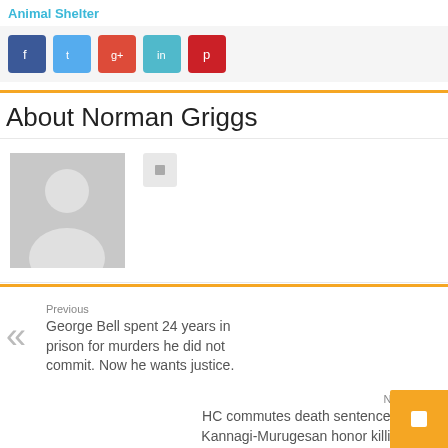Animal Shelter
[Figure (infographic): Social media share buttons: Facebook (blue), Twitter (light blue), Google+ (orange-red), LinkedIn (teal), Pinterest (red)]
About Norman Griggs
[Figure (photo): Default grey avatar placeholder image showing a silhouette of a person]
Previous
George Bell spent 24 years in prison for murders he did not commit. Now he wants justice.
Next
HC commutes death sentence of Kannagi-Murugesan honor killing convict